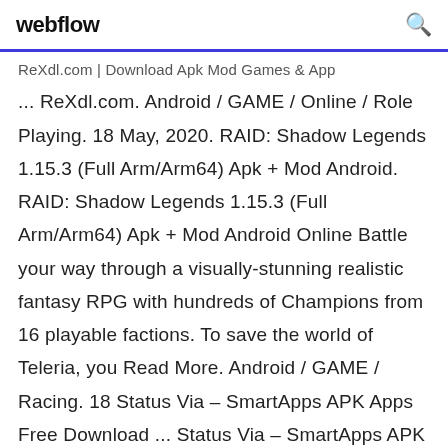webflow
ReXdl.com | Download Apk Mod Games & App ... ReXdl.com. Android / GAME / Online / Role Playing. 18 May, 2020. RAID: Shadow Legends 1.15.3 (Full Arm/Arm64) Apk + Mod Android. RAID: Shadow Legends 1.15.3 (Full Arm/Arm64) Apk + Mod Android Online Battle your way through a visually-stunning realistic fantasy RPG with hundreds of Champions from 16 playable factions. To save the world of Teleria, you Read More. Android / GAME / Racing. 18 Status Via – SmartApps APK Apps Free Download ... Status Via – SmartApps APK Games Latest Download For PC Windows Full Version. Status Via – SmartApps APK Apps Full Version Download for PC.Télécharger Status Via